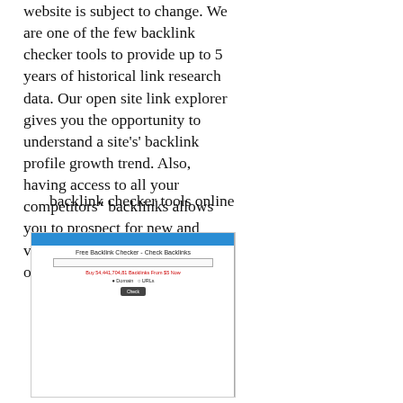website is subject to change. We are one of the few backlink checker tools to provide up to 5 years of historical link research data. Our open site link explorer gives you the opportunity to understand a site's' backlink profile growth trend. Also, having access to all your competitors" backlinks allows you to prospect for new and valuable link building opportunities.
backlink checker tools online
[Figure (screenshot): Screenshot of a Free Backlink Checker tool interface showing a blue header bar, title 'Free Backlink Checker - Check Backlinks', a URL input field, red text 'Buy 54,441,704,81 Backlinks From $5 Now', radio buttons for Domain/URLs, and a dark Check button.]